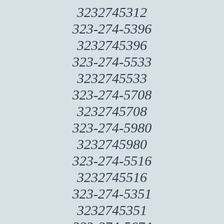3232745312
323-274-5396
3232745396
323-274-5533
3232745533
323-274-5708
3232745708
323-274-5980
3232745980
323-274-5516
3232745516
323-274-5351
3232745351
323-274-5674
3232745674
323-274-5313